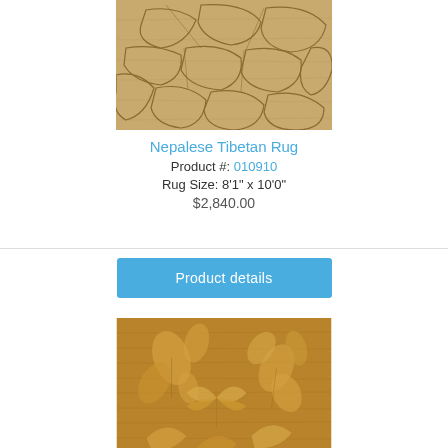[Figure (photo): Close-up photo of a tan/beige Nepalese Tibetan rug with geometric stone/pebble pattern in muted brown tones]
Nepalese Tibetan Rug
Product #: 010910
Rug Size: 8'1" x 10'0"
$2,840.00
Product details
[Figure (photo): Close-up photo of a golden-brown rug with floral/botanical pattern, butterflies and leaves in lighter gold tones]